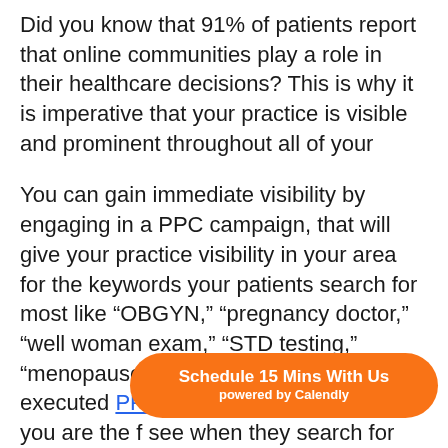Did you know that 91% of patients report that online communities play a role in their healthcare decisions? This is why it is imperative that your practice is visible and prominent throughout all of your
You can gain immediate visibility by engaging in a PPC campaign, that will give your practice visibility in your area for the keywords your patients search for most like “OBGYN,” “pregnancy doctor,” “well woman exam,” “STD testing,” “menopause treatment” and more. A well-executed PPC campaign will ensure that you are the f... see when they search for providers in
Schedule 15 Mins With Us powered by Calendly